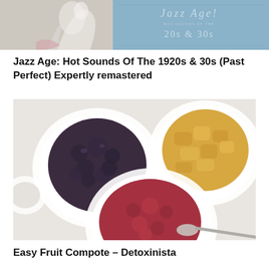[Figure (photo): Partial view of a Jazz Age album cover showing art deco styling with blue background and text reading 'Jazz Age: Hot Sounds of the 20s & 30s']
Jazz Age: Hot Sounds Of The 1920s & 30s (Past Perfect) Expertly remastered
[Figure (photo): Overhead shot of three white ceramic bowls containing different fruit compotes: dark purple/black berry compote, golden/yellow fruit compote, and red-pink berry compote with a spoon]
Easy Fruit Compote – Detoxinista